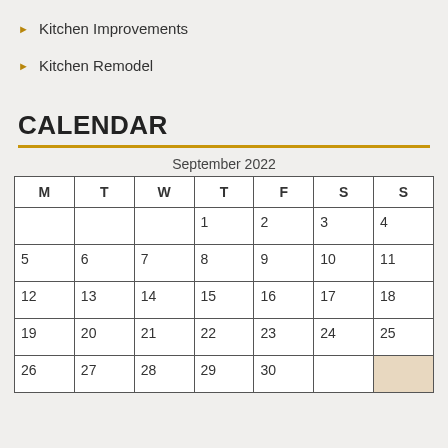Kitchen Improvements
Kitchen Remodel
CALENDAR
| M | T | W | T | F | S | S |
| --- | --- | --- | --- | --- | --- | --- |
|  |  |  | 1 | 2 | 3 | 4 |
| 5 | 6 | 7 | 8 | 9 | 10 | 11 |
| 12 | 13 | 14 | 15 | 16 | 17 | 18 |
| 19 | 20 | 21 | 22 | 23 | 24 | 25 |
| 26 | 27 | 28 | 29 | 30 |  |  |